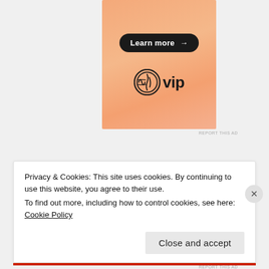[Figure (illustration): WordPress VIP advertisement banner with orange gradient background, a 'Learn more →' button in black pill shape, and the WordPress VIP logo at bottom]
REPORT THIS AD
SOCIAL
[Figure (illustration): Facebook icon (red rounded square) and Twitter icon (red rounded square with bird logo)]
Privacy & Cookies: This site uses cookies. By continuing to use this website, you agree to their use.
To find out more, including how to control cookies, see here: Cookie Policy
Close and accept